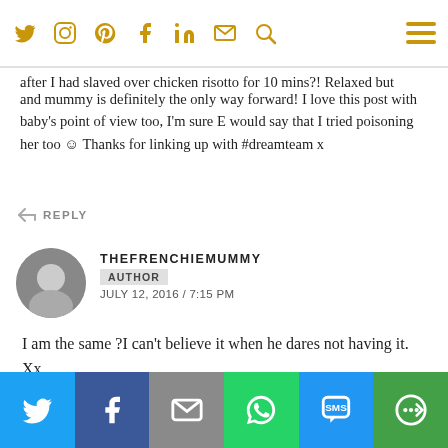Navigation bar with social icons: Twitter, Instagram, Pinterest, Facebook, LinkedIn, Email, Search, Hamburger menu
after I had slaved over chicken risotto for 10 mins?! Relaxed but and mummy is definitely the only way forward! I love this post with baby's point of view too, I'm sure E would say that I tried poisoning her too ☺ Thanks for linking up with #dreamteam x
REPLY
THEFRENCHIEMUMMY
AUTHOR
JULY 12, 2016 / 7:15 PM
I am the same ?I can't believe it when he dares not having it. Xx
REPLY
FRAN @ WHINGE WHINGE WINE
JULY 12, 2016 / 7:10 PM
Share bar: Twitter, Facebook, Email, WhatsApp, SMS, More